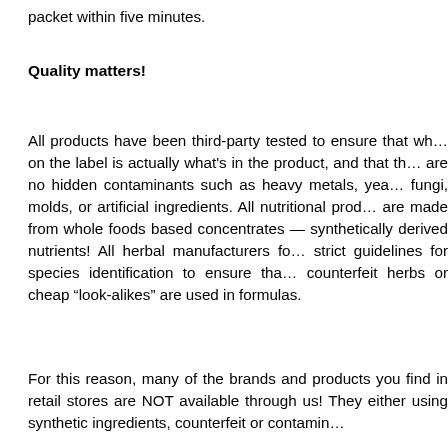packet within five minutes.
Quality matters!
All products have been third-party tested to ensure that what is on the label is actually what's in the product, and that there are no hidden contaminants such as heavy metals, yeasts, fungi, molds, or artificial ingredients. All nutritional products are made from whole foods based concentrates — no synthetically derived nutrients! All herbal manufacturers follow strict guidelines for species identification to ensure that no counterfeit herbs or cheap “look-alikes” are used in our formulas.
For this reason, many of the brands and products you may find in retail stores are NOT available through us! They are either using synthetic ingredients, counterfeit or contamin…